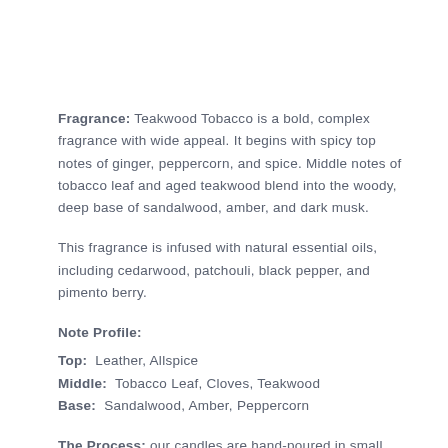Fragrance: Teakwood Tobacco is a bold, complex fragrance with wide appeal. It begins with spicy top notes of ginger, peppercorn, and spice. Middle notes of tobacco leaf and aged teakwood blend into the woody, deep base of sandalwood, amber, and dark musk.
This fragrance is infused with natural essential oils, including cedarwood, patchouli, black pepper, and pimento berry.
Note Profile:
Top: Leather, Allspice
Middle: Tobacco Leaf, Cloves, Teakwood
Base: Sandalwood, Amber, Peppercorn
The Process: our candles are hand-poured in small